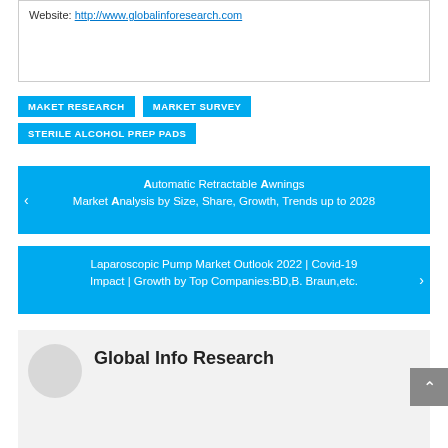Website: http://www.globalinforesearch.com
MAKET RESEARCH
MARKET SURVEY
STERILE ALCOHOL PREP PADS
Automatic Retractable Awnings Market Analysis by Size, Share, Growth, Trends up to 2028
Laparoscopic Pump Market Outlook 2022 | Covid-19 Impact | Growth by Top Companies:BD,B. Braun,etc.
Global Info Research